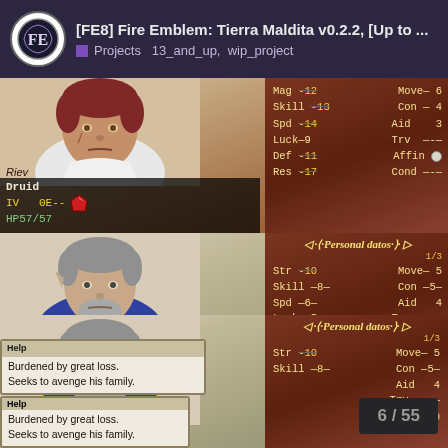[FE8] Fire Emblem: Tierra Maldita v0.2.2, [Up to ... Projects 13_and_up, wip_project
[Figure (screenshot): Game screenshot showing character Riev (Druid) with stats: Mag -12, Move 6, Skill -13, Con -4, Spd -14, Aid 3, Luck -9, Trv ---, Def -11, Affin (circle icon), Res -17, Cond ---. HP 37/37, Lv 0E--.]
[Figure (screenshot): Game screenshot showing character Wraith with Personal datas panel (1/3): Str -10, Move 5, Skill -8, Con -5, Spd -6, Aid 4, Luck -5, Trv ---, Def -8, Affin (gold icon), Cond ---. Help tooltip: 'Burdened by great loss. Seeks to avenge his family.']
[Figure (screenshot): Game screenshot showing character Wraith again with Personal datas panel (1/3): Str -10, Move 5, Skill -8, Con -5, Aid 4, Trv ---, Affin (gold icon). Help tooltip: 'Burdened by great loss. Seeks to avenge his family.' Page counter 6/55 shown bottom right.]